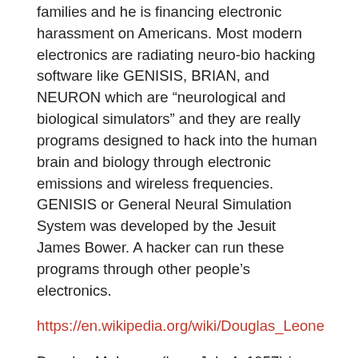families and he is financing electronic harassment on Americans. Most modern electronics are radiating neuro-bio hacking software like GENISIS, BRIAN, and NEURON which are “neurological and biological simulators” and they are really programs designed to hack into the human brain and biology through electronic emissions and wireless frequencies. GENISIS or General Neural Simulation System was developed by the Jesuit James Bower. A hacker can run these programs through other people’s electronics.
https://en.wikipedia.org/wiki/Douglas_Leone
Douglas M. Leone (born July 4, 1957) is an American billionaire venture capitalist with Sequoia Capital.
Leone was born July 4, 1957 in Genoa, Italy.[2]
Leone was responsible for investments including ServiceNow, Aruba, Meraki, Rackspace, Netezza, Arbor/Hyperion, RingCentral and MedExpress. He sits on the board of PlanGrid, NuBank, Medallia, ZirMed, ActionIQ, Numerify, and Lattice.